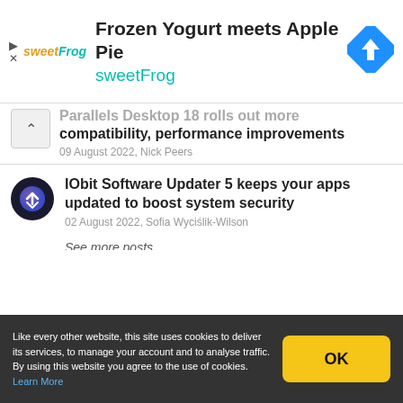[Figure (screenshot): SweetFrog advertisement banner with logo, headline 'Frozen Yogurt meets Apple Pie', subtext 'sweetFrog', and a blue diamond navigation icon on the right.]
Parallels Desktop 18 rolls out more compatibility, performance improvements
09 August 2022, Nick Peers
[Figure (logo): IObit Software Updater 5 circular app icon with purple/blue gradient and arrows]
IObit Software Updater 5 keeps your apps updated to boost system security
02 August 2022, Sofia Wyciślik-Wilson
See more posts...
Latest Comments
Like every other website, this site uses cookies to deliver its services, to manage your account and to analyse traffic. By using this website you agree to the use of cookies. Learn More